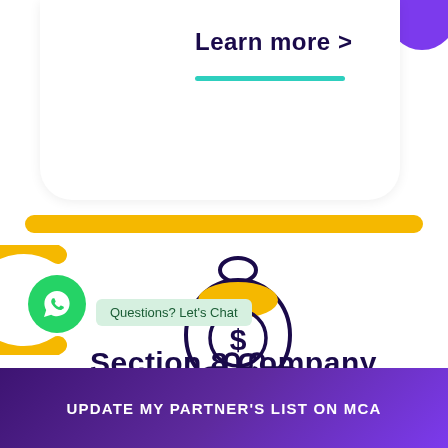Learn more >
[Figure (illustration): Money bag with dollar sign held on a hand, outline style illustration in dark purple and yellow]
Questions? Let's Chat
Section 8 Company
UPDATE MY PARTNER'S LIST ON MCA